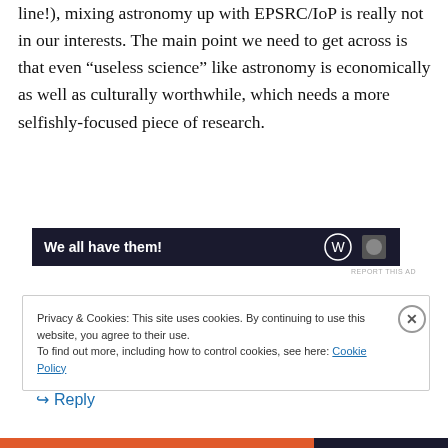line!), mixing astronomy up with EPSRC/IoP is really not in our interests. The main point we need to get across is that even “useless science” like astronomy is economically as well as culturally worthwhile, which needs a more selfishly-focused piece of research.
↪ Reply
[Figure (other): Dark advertisement banner with white bold text reading 'We all have them!' and icons on the right]
REPORT THIS AD
Privacy & Cookies: This site uses cookies. By continuing to use this website, you agree to their use.
To find out more, including how to control cookies, see here: Cookie Policy
Close and accept